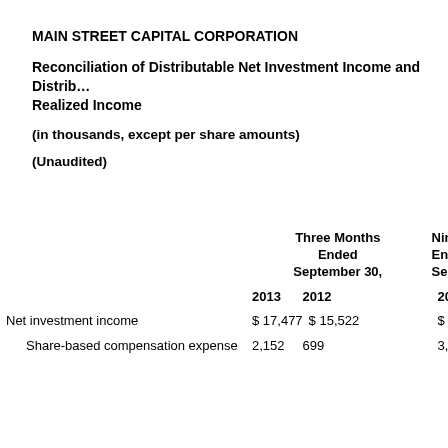MAIN STREET CAPITAL CORPORATION
Reconciliation of Distributable Net Investment Income and Distributable Realized Income
(in thousands, except per share amounts)
(Unaudited)
|  | Three Months Ended September 30, 2013 | Three Months Ended September 30, 2012 | Nine Months Ended September 30, 2013 |
| --- | --- | --- | --- |
| Net investment income | $ 17,477 | $ 15,522 | $ 52, |
| Share-based compensation expense | 2,152 | 699 | 3,357 |